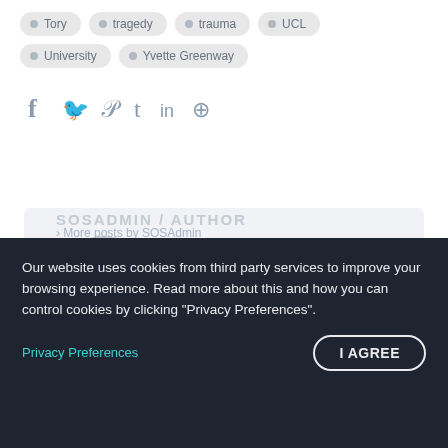Tory
tragedy
trauma
UCL
University
Yvette Greenway
[Figure (infographic): Social media share icons: Facebook, Twitter, Pinterest, Tumblr, LinkedIn, Reddit]
[Figure (photo): Author avatar placeholder circle with grey background]
Our website uses cookies from third party services to improve your browsing experience. Read more about this and how you can control cookies by clicking "Privacy Preferences".
Privacy Preferences
I AGREE